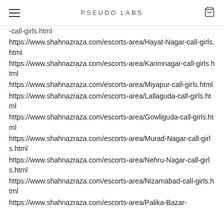PSEUDO LABS
https://www.shahnazraza.com/escorts-area/Hayat-Nagar-call-girls.html
https://www.shahnazraza.com/escorts-area/Karimnagar-call-girls.html
https://www.shahnazraza.com/escorts-area/Miyapur-call-girls.html
https://www.shahnazraza.com/escorts-area/Lallaguda-call-girls.html
https://www.shahnazraza.com/escorts-area/Gowliguda-call-girls.html
https://www.shahnazraza.com/escorts-area/Murad-Nagar-call-girls.html
https://www.shahnazraza.com/escorts-area/Nehru-Nagar-call-girls.html
https://www.shahnazraza.com/escorts-area/Nizamabad-call-girls.html
https://www.shahnazraza.com/escorts-area/Palika-Bazar-